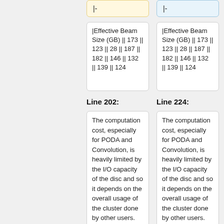|-
|-
|Effective Beam Size (GB) || 173 || 123 || 28 || 187 || 182 || 146 || 132 || 139 || 124
|Effective Beam Size (GB) || 173 || 123 || 28 || 187 || 182 || 146 || 132 || 139 || 124
Line 202:
Line 224:
The computation cost, especially for PODA and Convolution, is heavily limited by the I/O capacity of the disc and so it depends on the overall usage of the cluster done by other users.
The computation cost, especially for PODA and Convolution, is heavily limited by the I/O capacity of the disc and so it depends on the overall usage of the cluster done by other users.